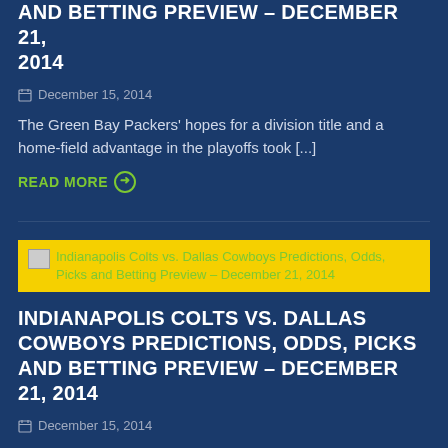AND BETTING PREVIEW – DECEMBER 21, 2014
December 15, 2014
The Green Bay Packers' hopes for a division title and a home-field advantage in the playoffs took [...]
READ MORE ➔
[Figure (screenshot): Yellow banner image link for Indianapolis Colts vs. Dallas Cowboys Predictions, Odds, Picks and Betting Preview – December 21, 2014]
INDIANAPOLIS COLTS VS. DALLAS COWBOYS PREDICTIONS, ODDS, PICKS AND BETTING PREVIEW – DECEMBER 21, 2014
December 15, 2014
Welcome to the playoffs, Indianapolis Colts. After taking down the Houston Texans in Week 15,